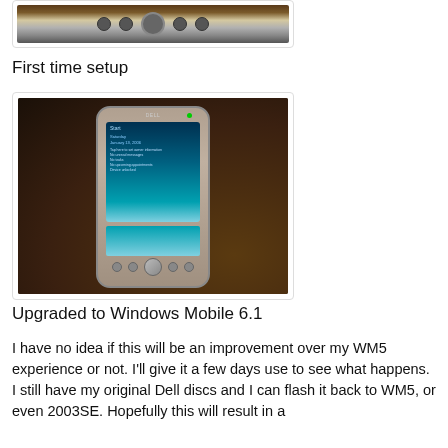[Figure (photo): Top portion of a Dell PDA/mobile device showing navigation buttons, viewed from above on a wooden surface]
First time setup
[Figure (photo): Dell Axim PDA showing Windows Mobile startup screen, with hardware navigation buttons at the bottom, placed on a wooden surface]
Upgraded to Windows Mobile 6.1
I have no idea if this will be an improvement over my WM5 experience or not. I'll give it a few days use to see what happens. I still have my original Dell discs and I can flash it back to WM5, or even 2003SE. Hopefully this will result in a